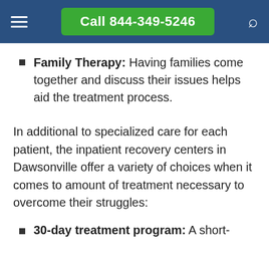Call 844-349-5246
Family Therapy: Having families come together and discuss their issues helps aid the treatment process.
In additional to specialized care for each patient, the inpatient recovery centers in Dawsonville offer a variety of choices when it comes to amount of treatment necessary to overcome their struggles:
30-day treatment program: A short-